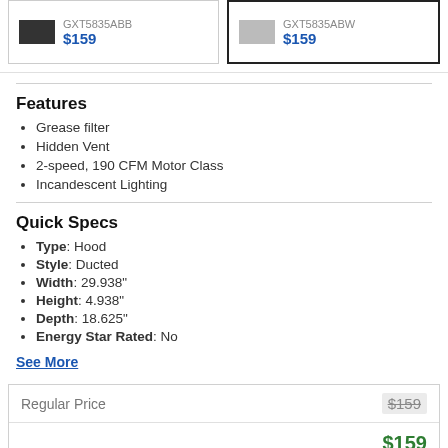[Figure (other): Two product cards showing dark and light colored hood products, both priced at $159]
Features
Grease filter
Hidden Vent
2-speed, 190 CFM Motor Class
Incandescent Lighting
Quick Specs
Type: Hood
Style: Ducted
Width: 29.938"
Height: 4.938"
Depth: 18.625"
Energy Star Rated: No
See More
| Regular Price | $159 |
| --- | --- |
|  | $159 |